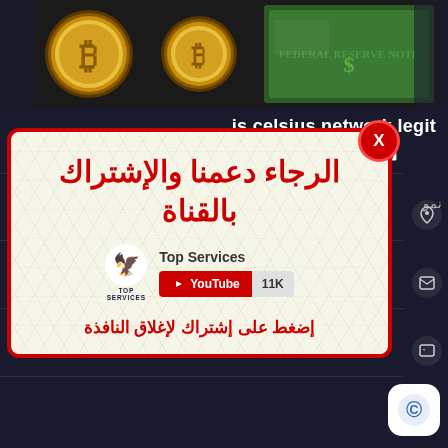[Figure (photo): Bitcoin gold coins and US dollar bills — cryptocurrency themed banner image at top of page]
is celsius network legit
15 مايو 2022
[Figure (infographic): Modal popup with red border on hexagonal pattern background. Contains Arabic text subscription request, Top Services YouTube channel logo and subscribe button showing 11K subscribers, and a red X close button.]
الرجاء دعمنا والإشتراك بالقناة
Top Services
YouTube 11K
إضغط على إشتراك لإغلاق النافذة